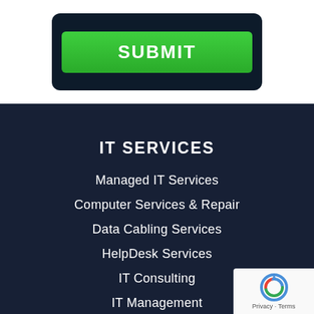[Figure (screenshot): Dark-themed web form with a green SUBMIT button]
IT SERVICES
Managed IT Services
Computer Services & Repair
Data Cabling Services
HelpDesk Services
IT Consulting
IT Management
Hourly IT Support
[Figure (logo): reCAPTCHA badge with Privacy and Terms links]